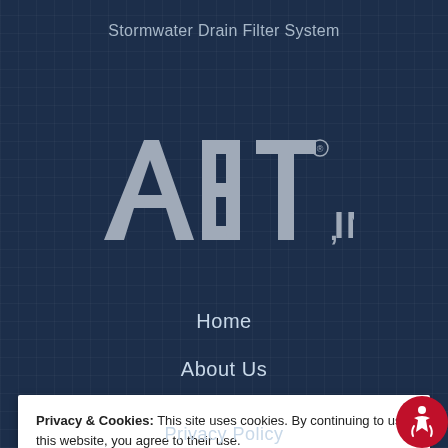Stormwater Drain Filter System
[Figure (logo): ABT, INC. company logo in light gray on dark navy background]
Home
About Us
Privacy & Cookies: This site uses cookies. By continuing to use this website, you agree to their use. To find out more, including how to control cookies, see here: Cookie Policy
Close and ac...
Privacy Policy